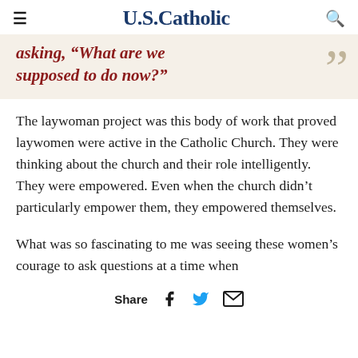U.S.Catholic
asking, "What are we supposed to do now?"
The laywoman project was this body of work that proved laywomen were active in the Catholic Church. They were thinking about the church and their role intelligently. They were empowered. Even when the church didn’t particularly empower them, they empowered themselves.
What was so fascinating to me was seeing these women’s courage to ask questions at a time when
Share